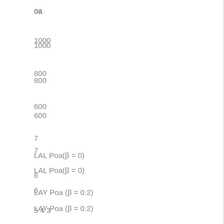oa
1000
800
600
7
LAL Poa(β = 0)
6
LAY Poa (β = 0.2)
5 4 3
200
1
100 50